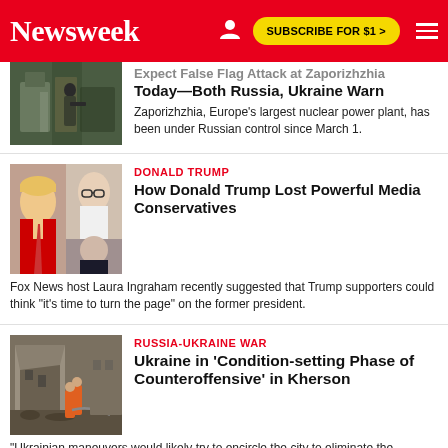Newsweek | SUBSCRIBE FOR $1 >
[Figure (photo): Military soldier at a facility, likely Zaporizhzhia nuclear plant area]
Expect False Flag Attack at Zaporizhzhia Today—Both Russia, Ukraine Warn
Zaporizhzhia, Europe's largest nuclear power plant, has been under Russian control since March 1.
DONALD TRUMP
[Figure (photo): Collage of Donald Trump, Rupert Murdoch, and Alex Jones]
How Donald Trump Lost Powerful Media Conservatives
Fox News host Laura Ingraham recently suggested that Trump supporters could think "it's time to turn the page" on the former president.
RUSSIA-UKRAINE WAR
[Figure (photo): Destroyed building in Ukraine with workers in orange]
Ukraine in 'Condition-setting Phase of Counteroffensive' in Kherson
"Ukrainian maneuvers would likely try to encircle the city to eliminate the possibility of those Russian forces in the city leaving," a military expert said.